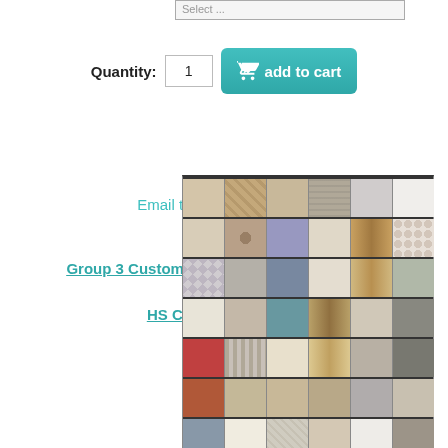Select ...
Quantity: 1  add to cart
Email this page to a friend
Group 3 Custom Fabrics - Click here to view
HS Custom Swatches
[Figure (illustration): Grid of fabric swatches showing various patterns, textures, and colors including beige, tan, gray, teal, red, rust, navy, and patterned fabrics arranged in multiple rows and columns]